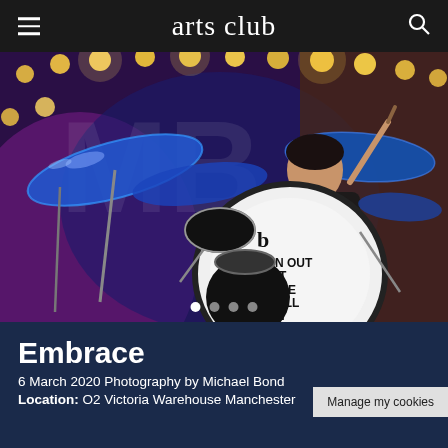arts club
[Figure (photo): A drummer performing on stage with blue cymbals and stage lighting behind him. The bass drum head reads 'N OUT THE WILL N GOOD' with a circular logo. The background shows bright warm stage lights.]
Embrace
6 March 2020 Photography by Michael Bond
Location: O2 Victoria Warehouse Manchester
Manage my cookies